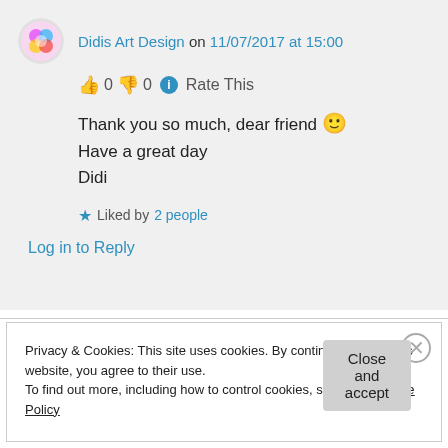Didis Art Design on 11/07/2017 at 15:00
👍 0 👎 0 ℹ Rate This
Thank you so much, dear friend 🙂
Have a great day
Didi
★ Liked by 2 people
Log in to Reply
Privacy & Cookies: This site uses cookies. By continuing to use this website, you agree to their use.
To find out more, including how to control cookies, see here: Cookie Policy
Close and accept